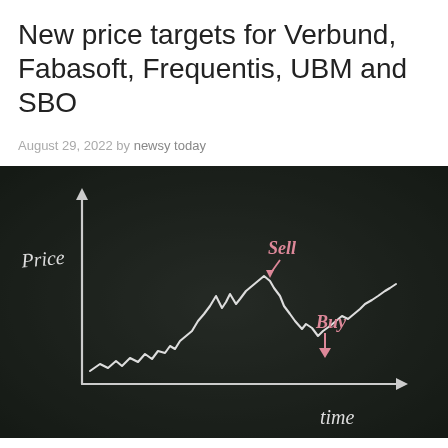New price targets for Verbund, Fabasoft, Frequentis, UBM and SBO
August 29, 2022 by newsy today
[Figure (illustration): Chalkboard drawing of a price-vs-time stock chart with handwritten labels 'Price' on the y-axis, 'time' on the x-axis, 'Sell' (in pink) marking a peak, and 'Buy' (in pink) marking a trough, with a jagged white chalk line showing price movement.]